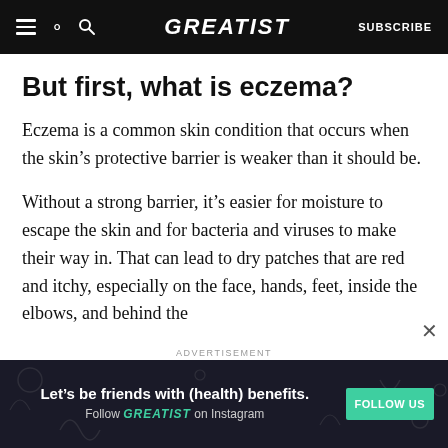GREATIST | SUBSCRIBE
But first, what is eczema?
Eczema is a common skin condition that occurs when the skin’s protective barrier is weaker than it should be.
Without a strong barrier, it’s easier for moisture to escape the skin and for bacteria and viruses to make their way in. That can lead to dry patches that are red and itchy, especially on the face, hands, feet, inside the elbows, and behind the
ADVERTISEMENT
Let’s be friends with (health) benefits. Follow GREATIST on Instagram | FOLLOW US